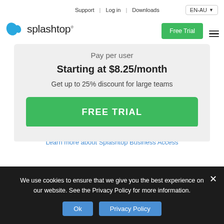Support | Log in | Downloads | EN-AU | Free Trial
[Figure (logo): Splashtop logo with teal splash icon and splashtop wordmark]
Pay per user
Starting at $8.25/month
Get up to 25% discount for large teams
FREE TRIAL
Learn more about Splashtop Business Access
We use cookies to ensure that we give you the best experience on our website. See the Privacy Policy for more information.
Ok
Privacy Policy